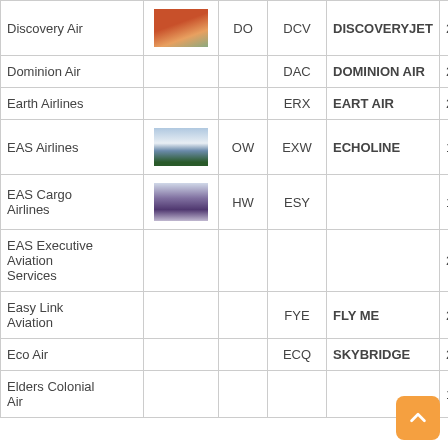| Airline | Image | IATA | ICAO | Callsign | Year |
| --- | --- | --- | --- | --- | --- |
| Discovery Air | [photo] | DO | DCV | DISCOVERYJET | 2014 |
| Dominion Air |  |  | DAC | DOMINION AIR | 2013 |
| Earth Airlines |  |  | ERX | EART AIR | 2002 |
| EAS Airlines | [photo] | OW | EXW | ECHOLINE | 1993 |
| EAS Cargo Airlines | [photo] | HW | ESY |  | 1987 |
| EAS Executive Aviation Services |  |  |  |  | 2007 |
| Easy Link Aviation |  |  | FYE | FLY ME | 2001 |
| Eco Air |  |  | ECQ | SKYBRIDGE | 2004 |
| Elders Colonial Air |  |  |  |  | 1935 |